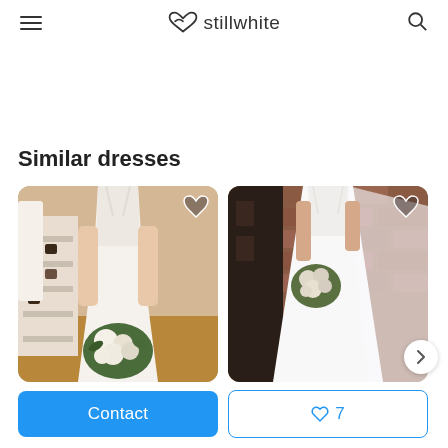stillwhite
Similar dresses
[Figure (photo): Bride in a white lace spaghetti-strap A-line wedding dress holding a bouquet, in a bridal shop.]
[Figure (photo): Bride in a white ball gown wedding dress holding a bouquet, standing in front of a brick wall.]
Contact
♡ 7